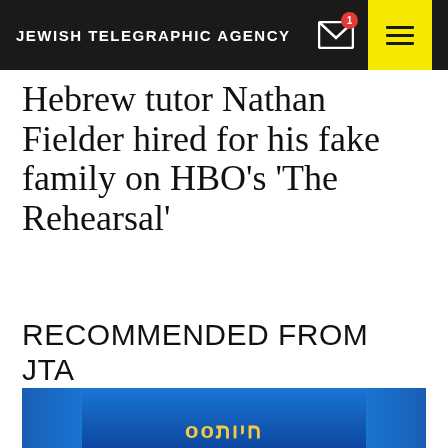JEWISH TELEGRAPHIC AGENCY
Hebrew tutor Nathan Fielder hired for his fake family on HBO's ‘The Rehearsal’
RECOMMENDED FROM JTA
[Figure (photo): A stage scene with blue curtains and Hebrew text/logo displayed in golden/yellow color on a dark blue background]